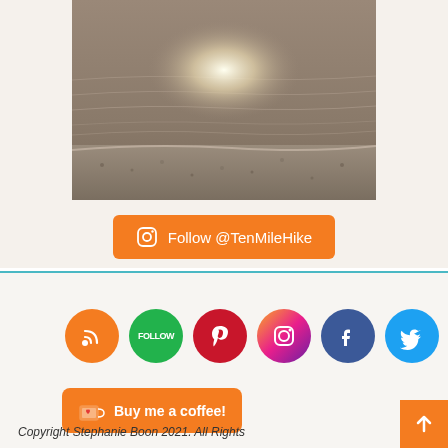[Figure (photo): Beach/shore photo showing wet sand with water reflections and sunlight glinting on the water surface, sepia/muted tones]
Follow @TenMileHike
[Figure (infographic): Row of social media icon circles: RSS (orange), Follow (green), Pinterest (red), Instagram (gradient), Facebook (dark blue), Twitter (light blue)]
Buy me a coffee!
Copyright Stephanie Boon 2021. All Rights